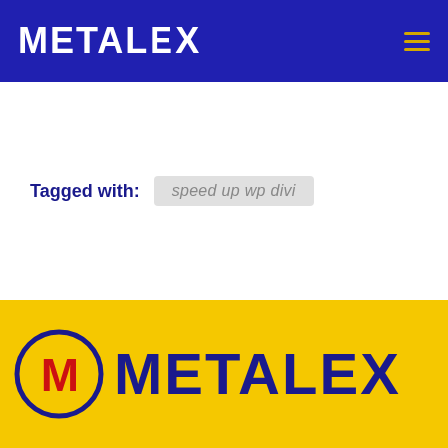METALEX
Tagged with: speed up wp divi
[Figure (logo): Metalex logo on yellow background: circular M emblem in red and blue, followed by METALEX wordmark in dark blue bold uppercase text]